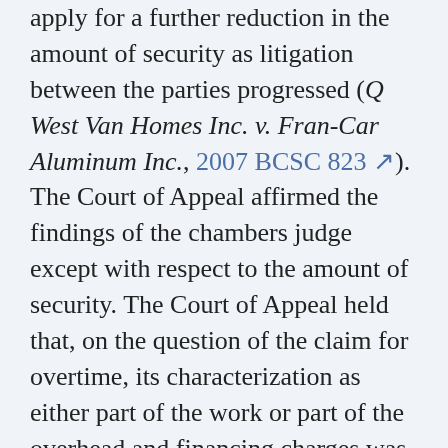apply for a further reduction in the amount of security as litigation between the parties progressed (Q West Van Homes Inc. v. Fran-Car Aluminum Inc., 2007 BCSC 823). The Court of Appeal affirmed the findings of the chambers judge except with respect to the amount of security. The Court of Appeal held that, on the question of the claim for overtime, its characterization as either part of the work or part of the overhead and financing charges was a matter that should have been left for the trial judge and that the chambers judge erred, at this stage of the proceedings, in deducting the overtime amount from the amount claimed. Accordingly, the Court of Appeal increased the